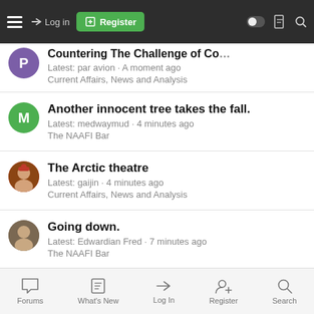Navigation bar with hamburger menu, Log in, Register, and icons
Countering The Challenge of C... | Latest: par avion · A moment ago | Current Affairs, News and Analysis
Another innocent tree takes the fall. | Latest: medwaymud · 4 minutes ago | The NAAFI Bar
The Arctic theatre | Latest: gaijin · 4 minutes ago | Current Affairs, News and Analysis
Going down. | Latest: Edwardian Fred · 7 minutes ago | The NAAFI Bar
Classic car as a daily runner? | Latest: Truxx · 7 minutes ago | Cars, Bikes 'n AFVs
Forums | What's New | Log In | Register | Search